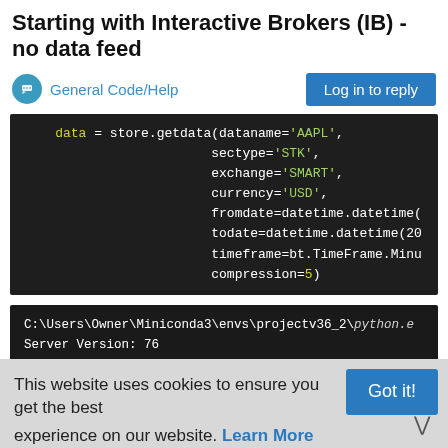Starting with Interactive Brokers (IB) - no data feed
General Code/Help
[Figure (screenshot): Dark-themed code editor showing Python code: data = store.getdata(dataname='AAPL', sectype='STK', exchange='SMART', currency='USD', fromdate=datetime.datetime(...), todate=datetime.datetime(20...), timeframe=bt.TimeFrame.Minu..., compression=5)]
[Figure (screenshot): Terminal output showing: C:\Users\Owner\Miniconda3\envs\projectv36_2\python.e, Server Version: 76, TWS Time at connection:20190924 20:41:11 BST, ***** DATA NOTIF: DELAYED]
This website uses cookies to ensure you get the best experience on our website. Learn More